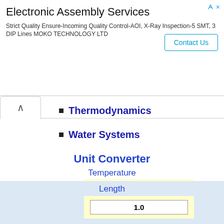[Figure (screenshot): Advertisement banner for Electronic Assembly Services by MOKO TECHNOLOGY LTD with a Contact Us button]
Thermodynamics
Water Systems
Unit Converter
Temperature
0.0 — input field with radio options °C (selected) and °F, and a Convert! button
This website use cookies. By continue to browse you agree to our use of cookies! Learn more
Length
1.0 — input field